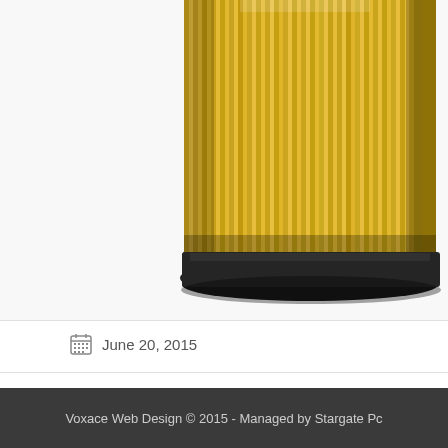[Figure (photo): A cylindrical yellow oil filter element with pleated paper filter medium and black rubber end cap, photographed against a white background. The filter is partially cropped at the top.]
June 20, 2015
Voxace Web Design © 2015 - Managed by Stargate Pc